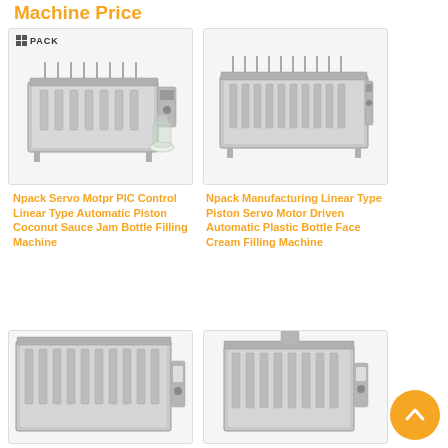Machine Price
[Figure (photo): Npack Servo Motor PLC Control Linear Type Automatic Piston Coconut Sauce Jam Bottle Filling Machine - stainless steel industrial filling machine with multiple nozzles]
Npack Servo Motpr PlC Control Linear Type Automatic Piston Coconut Sauce Jam Bottle Filling Machine
[Figure (photo): Npack Manufacturing Linear Type Piston Servo Motor Driven Automatic Plastic Bottle Face Cream Filling Machine - stainless steel industrial filling machine with multiple nozzles]
Npack Manufacturing Linear Type Piston Servo Motor Driven Automatic Plastic Bottle Face Cream Filling Machine
[Figure (photo): Partial view of an industrial filling machine - bottom of page]
[Figure (photo): Partial view of an industrial filling machine - bottom of page]